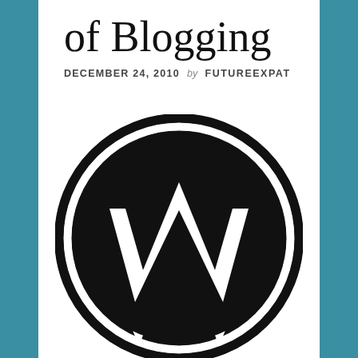of Blogging
DECEMBER 24, 2010 by FUTUREEXPAT
[Figure (logo): WordPress logo: large black circle with white W lettermark inside]